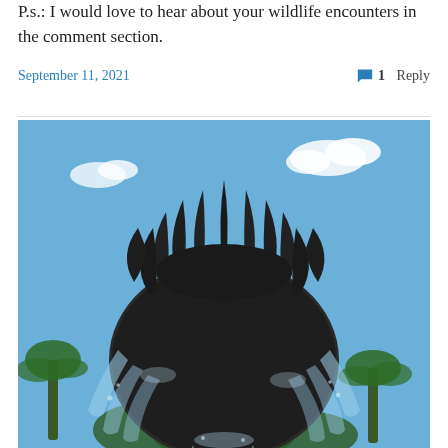P.s.: I would love to hear about your wildlife encounters in the comment section.
September 11, 2021   💬 1 Reply
[Figure (photo): Close-up photograph of a large pineapple-shaped fountain sculpture against a blue sky with white clouds. The dark bronze/stone fountain has water cascading down its sides, with palm trees visible in the background.]